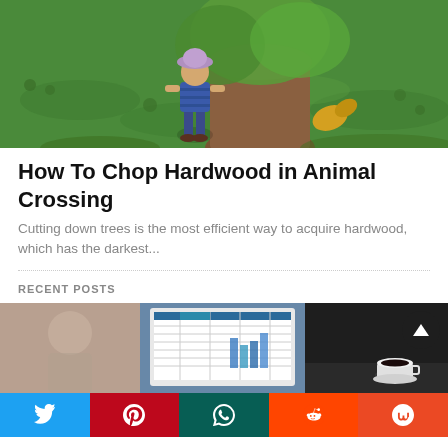[Figure (screenshot): Animal Crossing game scene showing a character standing near a large tree on green grass, character wearing a pink hat and striped pants, with a yellow leaf/item nearby]
How To Chop Hardwood in Animal Crossing
Cutting down trees is the most efficient way to acquire hardwood, which has the darkest...
RECENT POSTS
[Figure (photo): Split image showing a person on the left, a computer screen with a spreadsheet in the center, and a dark scene with a coffee cup on the right. A scroll-to-top button (triangle) is visible on the right side.]
[Figure (infographic): Social share bar at the bottom with Twitter (blue), Pinterest (red), WhatsApp (teal), Reddit (orange-red), and StumbleUpon (orange-red) buttons with their respective icons]